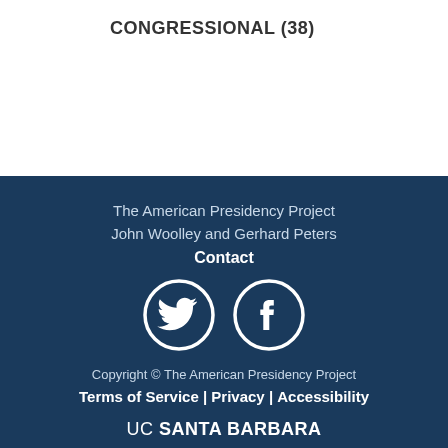CONGRESSIONAL (38)
The American Presidency Project
John Woolley and Gerhard Peters
Contact
Copyright © The American Presidency Project
Terms of Service | Privacy | Accessibility
UC SANTA BARBARA